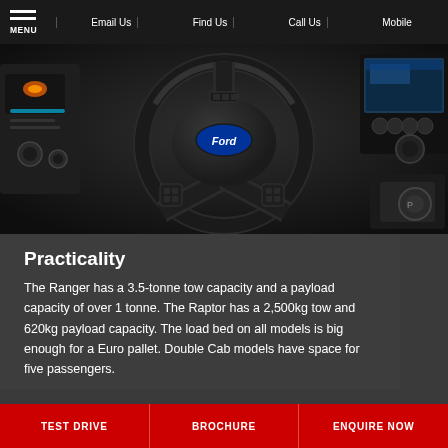MENU | Email Us | Find Us | Call Us | Mobile
[Figure (photo): Interior of a Ford Ranger/Raptor showing the steering wheel with Ford logo, dashboard controls, and center console]
Practicality
The Ranger has a 3.5-tonne tow capacity and a payload capacity of over 1 tonne. The Raptor has a 2,500kg tow and 620kg payload capacity. The load bed on all models is big enough for a Euro pallet. Double Cab models have space for five passengers.
TEST DRIVE | BROCHURE | ENQUIRE NOW